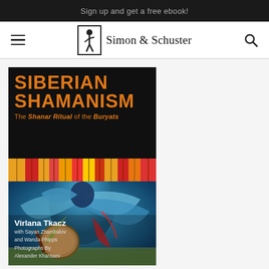Sign up and get a free ebook!
[Figure (logo): Simon & Schuster publisher logo with navigation bar including hamburger menu and search icon]
[Figure (illustration): Book cover of 'Siberian Shamanism: The Shanar Ritual of the Buryats' by Virlana Tkacz, with Sayan Zhambalov and Wanda Phipps, Photographs by Alexander Khantaev. Black background with orange title text at top, decorative colorful fabric strip, and photo of shaman in blue robes with drum below.]